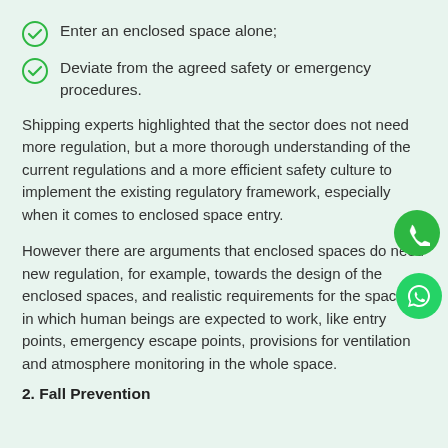Enter an enclosed space alone;
Deviate from the agreed safety or emergency procedures.
Shipping experts highlighted that the sector does not need more regulation, but a more thorough understanding of the current regulations and a more efficient safety culture to implement the existing regulatory framework, especially when it comes to enclosed space entry.
However there are arguments that enclosed spaces do need new regulation, for example, towards the design of the enclosed spaces, and realistic requirements for the spaces in which human beings are expected to work, like entry points, emergency escape points, provisions for ventilation and atmosphere monitoring in the whole space.
2. Fall Prevention